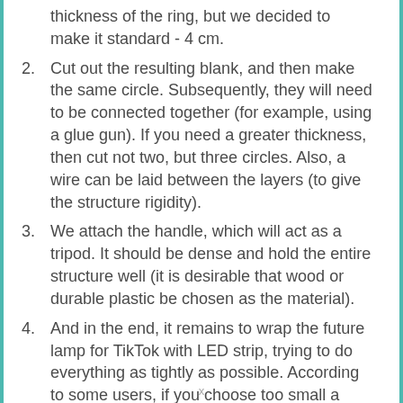thickness of the ring, but we decided to make it standard - 4 cm.
Cut out the resulting blank, and then make the same circle. Subsequently, they will need to be connected together (for example, using a glue gun). If you need a greater thickness, then cut not two, but three circles. Also, a wire can be laid between the layers (to give the structure rigidity).
We attach the handle, which will act as a tripod. It should be dense and hold the entire structure well (it is desirable that wood or durable plastic be chosen as the material).
And in the end, it remains to wrap the future lamp for TikTok with LED strip, trying to do everything as tightly as possible. According to some users, if you choose too small a thickness of the structure, then slight creases are possible (this is not critical).
x